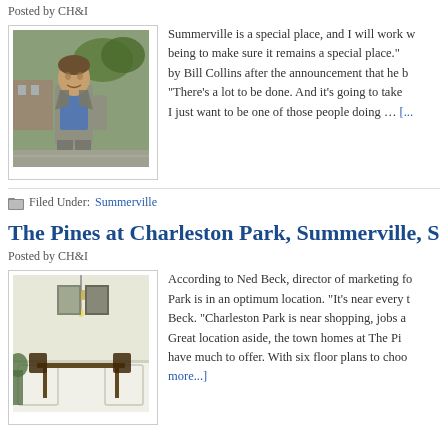Posted by CH&I
[Figure (photo): Man in a grey blazer and blue shirt walking outdoors near trees and a parking area]
Summerville is a special place, and I will work w... being to make sure it remains a special place." by Bill Collins after the announcement that he b... "There's a lot to be done. And it's going to take... I just want to be one of those people doing … [more...]
Filed Under: Summerville
The Pines at Charleston Park, Summerville, SC
Posted by CH&I
[Figure (photo): Interior photo of a dining room with chandelier, white wainscoting, dark wood furniture]
According to Ned Beck, director of marketing fo... Park is in an optimum location. "It's near every t... Beck. "Charleston Park is near shopping, jobs a... Great location aside, the town homes at The Pi... have much to offer. With six floor plans to choo... more...]